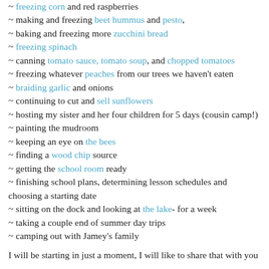~ freezing corn and red raspberries
~ making and freezing beet hummus and pesto,
~ baking and freezing more zucchini bread
~ freezing spinach
~ canning tomato sauce, tomato soup, and chopped tomatoes
~ freezing whatever peaches from our trees we haven't eaten
~ braiding garlic and onions
~ continuing to cut and sell sunflowers
~ hosting my sister and her four children for 5 days (cousin camp!)
~ painting the mudroom
~ keeping an eye on the bees
~ finding a wood chip source
~ getting the school room ready
~ finishing school plans, determining lesson schedules and choosing a starting date
~ sitting on the dock and looking at the lake- for a week
~ taking a couple end of summer day trips
~ camping out with Jamey's family
I will be starting in just a moment, I will like to share that with you